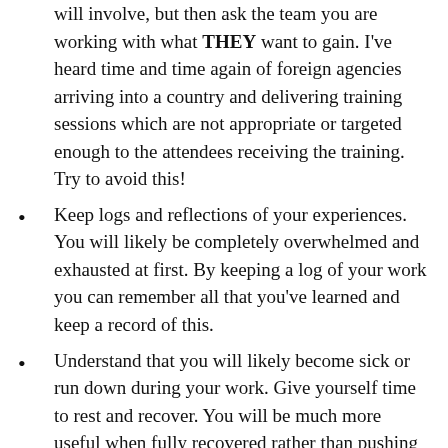will involve, but then ask the team you are working with what THEY want to gain. I've heard time and time again of foreign agencies arriving into a country and delivering training sessions which are not appropriate or targeted enough to the attendees receiving the training. Try to avoid this!
Keep logs and reflections of your experiences. You will likely be completely overwhelmed and exhausted at first. By keeping a log of your work you can remember all that you've learned and keep a record of this.
Understand that you will likely become sick or run down during your work. Give yourself time to rest and recover. You will be much more useful when fully recovered rather than pushing yourself to exhaustion!
Remember that it's OK to switch off and enjoy some